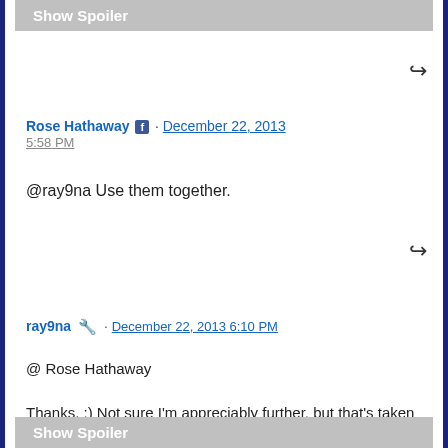Show Spoiler
Rose Hathaway · December 22, 2013 5:58 PM
@ray9na Use them together.
ray9na · December 22, 2013 6:10 PM
@ Rose Hathaway

Thanks. :) Not sure I'm appreciably further, but that's taken care of.

I had forgotten to mention, I had
Show Spoiler